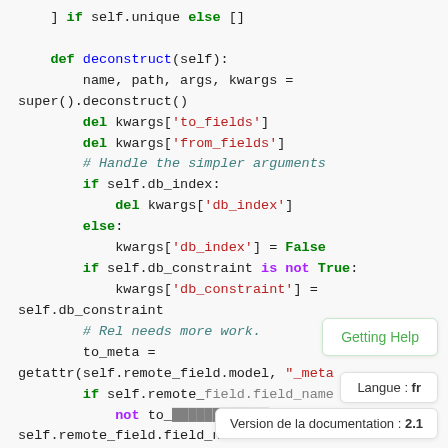Python code snippet showing deconstruct method with kwargs manipulation, db_index, db_constraint handling, and remote_field access
Getting Help tooltip
Langue : fr tooltip
Version de la documentation : 2.1 tooltip